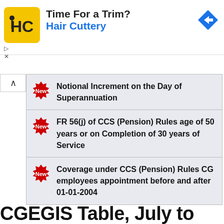[Figure (logo): Hair Cuttery advertisement banner with HC logo, text 'Time For a Trim?' and 'Hair Cuttery' in blue, and a blue direction arrow icon on the right]
Notional Increment on the Day of Superannuation
FR 56(j) of CCS (Pension) Rules age of 50 years or on Completion of 30 years of Service
Coverage under CCS (Pension) Rules CG employees appointment before and after 01-01-2004
CGEGIS Table, July to